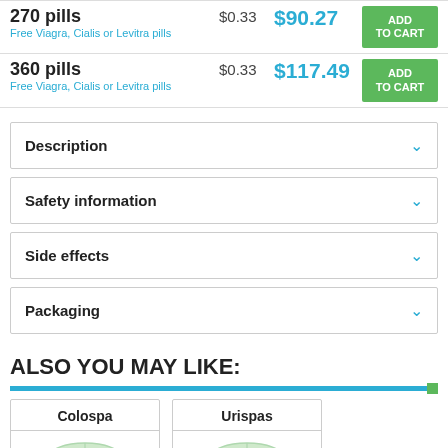| Quantity | Price/pill | Total | Action |
| --- | --- | --- | --- |
| 270 pills | $0.33 | $90.27 | ADD TO CART |
| 360 pills | $0.33 | $117.49 | ADD TO CART |
Description
Safety information
Side effects
Packaging
ALSO YOU MAY LIKE:
Colospa
Urispas